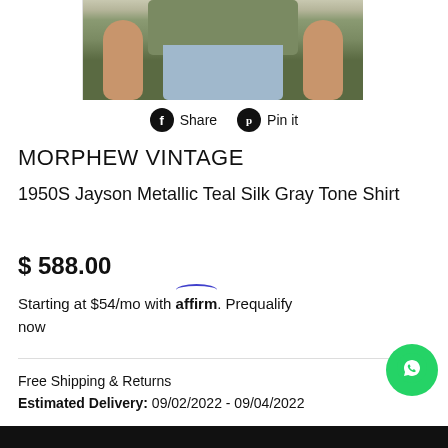[Figure (photo): Cropped photo of a man wearing an olive/teal silk shirt and light blue jeans, showing torso and hands only]
f Share  🅟 Pin it
MORPHEW VINTAGE
1950S Jayson Metallic Teal Silk Gray Tone Shirt
$ 588.00
Starting at $54/mo with affirm. Prequalify now
Free Shipping & Returns
Estimated Delivery: 09/02/2022 - 09/04/2022